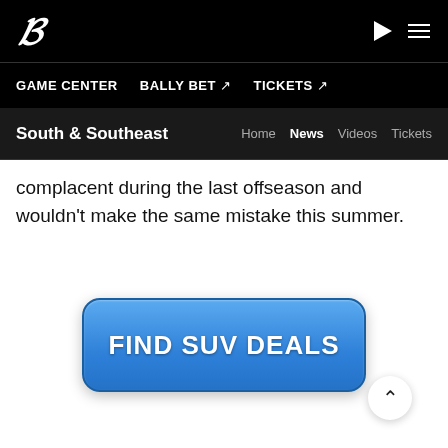B (logo) | play button | menu icon
GAME CENTER | BALLY BET ↗ | TICKETS ↗
South & Southeast | Home | News | Videos | Tickets
complacent during the last offseason and wouldn't make the same mistake this summer.
[Figure (other): Blue rounded rectangle button with bold white text reading FIND SUV DEALS]
[Figure (other): Scroll-to-top circular button with upward chevron arrow]